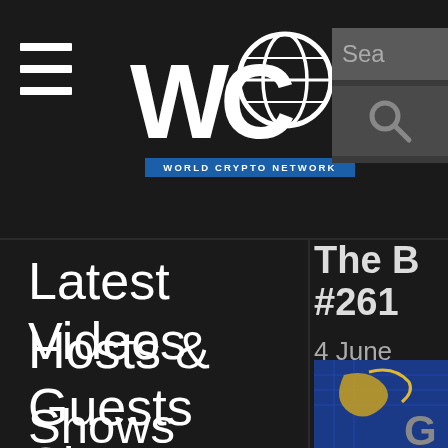[Figure (logo): WCN World Crypto Network logo with hamburger menu icon on dark background]
[Figure (screenshot): Search box area with 'Sea' text and magnifying glass icon]
Latest Videos
Hosts & Guests
Shows
On This Day
The B #261
4 June
[Figure (screenshot): Partial thumbnail of a video with blue background and golden star logo, with G icon]